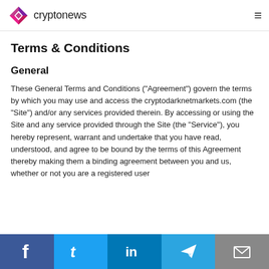cryptonews
Terms & Conditions
General
These General Terms and Conditions ("Agreement") govern the terms by which you may use and access the cryptodarknetmarkets.com (the "Site") and/or any services provided therein. By accessing or using the Site and any service provided through the Site (the "Service"), you hereby represent, warrant and undertake that you have read, understood, and agree to be bound by the terms of this Agreement thereby making them a binding agreement between you and us, whether or not you are a registered user
Social links: Facebook, Twitter, LinkedIn, Telegram, Email